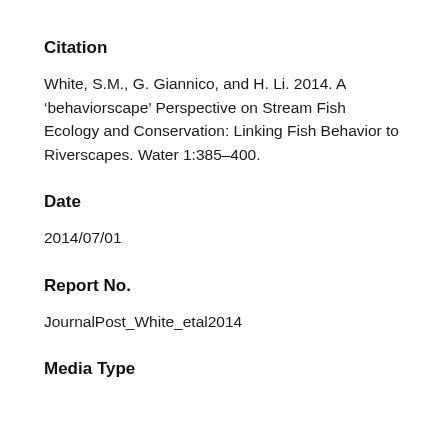Citation
White, S.M., G. Giannico, and H. Li. 2014. A ‘behaviorscape’ Perspective on Stream Fish Ecology and Conservation: Linking Fish Behavior to Riverscapes. Water 1:385–400.
Date
2014/07/01
Report No.
JournalPost_White_etal2014
Media Type